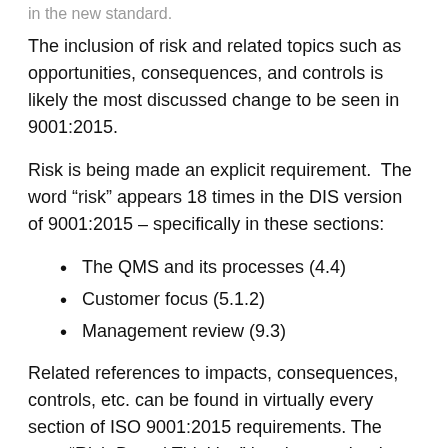in the new standard.
The inclusion of risk and related topics such as opportunities, consequences, and controls is likely the most discussed change to be seen in 9001:2015.
Risk is being made an explicit requirement. The word “risk” appears 18 times in the DIS version of 9001:2015 – specifically in these sections:
The QMS and its processes (4.4)
Customer focus (5.1.2)
Management review (9.3)
Related references to impacts, consequences, controls, etc. can be found in virtually every section of ISO 9001:2015 requirements. The term “Risk-Based Thinking” has been coined to help the concept